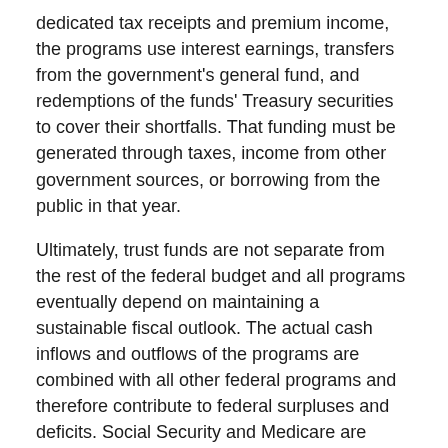dedicated tax receipts and premium income, the programs use interest earnings, transfers from the government's general fund, and redemptions of the funds' Treasury securities to cover their shortfalls. That funding must be generated through taxes, income from other government sources, or borrowing from the public in that year.
Ultimately, trust funds are not separate from the rest of the federal budget and all programs eventually depend on maintaining a sustainable fiscal outlook. The actual cash inflows and outflows of the programs are combined with all other federal programs and therefore contribute to federal surpluses and deficits. Social Security and Medicare are programs relied upon by millions of Americans. The sooner that we implement reforms, the more gradual they will be, and the easier it will be to secure these critical programs.